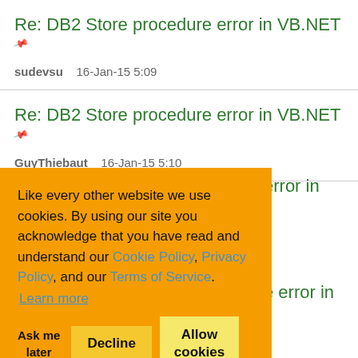Re: DB2 Store procedure error in VB.NET
sudevsu   16-Jan-15 5:09
Re: DB2 Store procedure error in VB.NET
GuyThiebaut   16-Jan-15 5:10
Like every other website we use cookies. By using our site you acknowledge that you have read and understand our Cookie Policy, Privacy Policy, and our Terms of Service. Learn more
Ask me later | Decline | Allow cookies